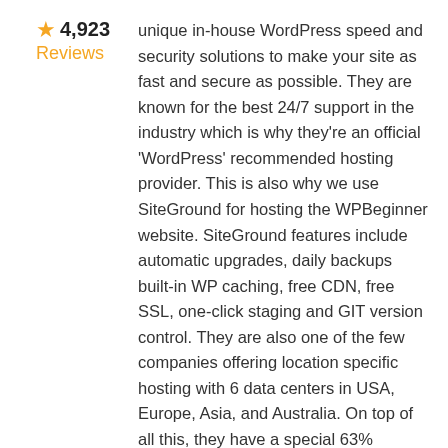★ 4,923 Reviews
unique in-house WordPress speed and security solutions to make your site as fast and secure as possible. They are known for the best 24/7 support in the industry which is why they're an official 'WordPress' recommended hosting provider. This is also why we use SiteGround for hosting the WPBeginner website. SiteGround features include automatic upgrades, daily backups built-in WP caching, free CDN, free SSL, one-click staging and GIT version control. They are also one of the few companies offering location specific hosting with 6 data centers in USA, Europe, Asia, and Australia. On top of all this, they have a special 63% discount for WPBeginner readers.